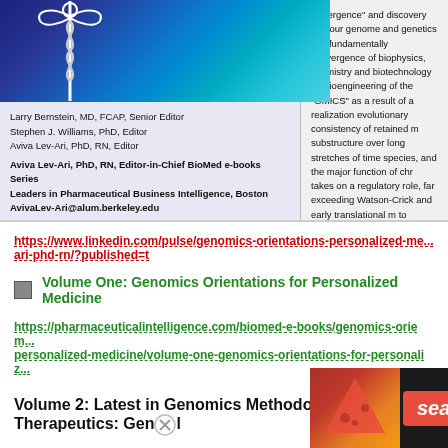[Figure (photo): Book cover with caduceus medical symbol on blue/teal gradient background]
Larry Bernstein, MD, FCAP, Senior Editor
Stephen J. Williams, PhD, Editor
Aviva Lev-Ari, PhD, RN, Editor

Aviva Lev-Ari, PhD, RN, Editor-in-Chief BioMed e-books Series
Leaders in Pharmaceutical Business Intelligence, Boston
AvivaLev-Ari@alum.berkeley.edu
"omergence" and discovery that our genome and genetics has fundamentally convergence of biophysics, chemistry and biotechnology ad bioengineering of the "OMICS" as a result of a realization evolutionary consistency of retained m substructure over long stretches of time species, and the major function of chr takes on a regulatory role, far exceeding Watson-Crick and early translational m to protein, mRNA and ER, mitochondria becomes clearer when we examine h arise by small mutational changes in s well as coding DNA that result in wha considered "disease."
https://www.linkedin.com/pulse/genomics-orientations-personalized-me...
ari-phd-rn/?published=t
Volume One: Genomics Orientations for Personalized Medicine
https://pharmaceuticalintelligence.com/biomed-e-books/genomics-oriem...
personalized-medicine/volume-one-genomics-orientations-for-personaliz...
Volume 2: Latest in Genomics Methodologies for Therapeutics: Gen...
Advertisements
[Figure (photo): Seamless food delivery advertisement banner with pizza image, Seamless logo, and ORDER NOW button]